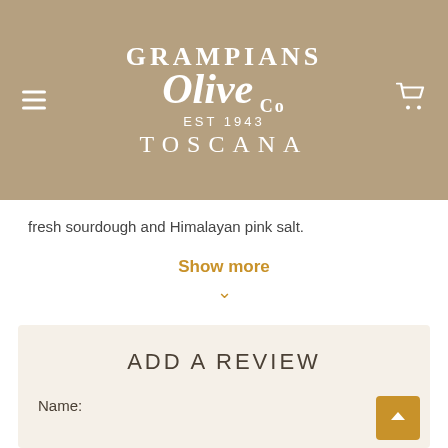[Figure (logo): Grampians Olive Co. EST 1943 TOSCANA logo in white on tan/khaki background, with hamburger menu icon on left and cart icon on right]
fresh sourdough and Himalayan pink salt.
Show more
ADD A REVIEW
Name: